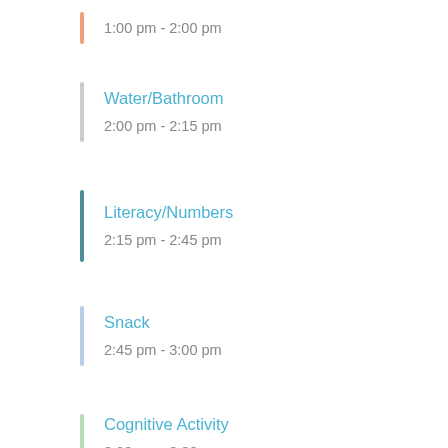1:00 pm - 2:00 pm
Water/Bathroom
2:00 pm - 2:15 pm
Literacy/Numbers
2:15 pm - 2:45 pm
Snack
2:45 pm - 3:00 pm
Cognitive Activity
3:00 pm - 3:30 pm
Arts & Crafts